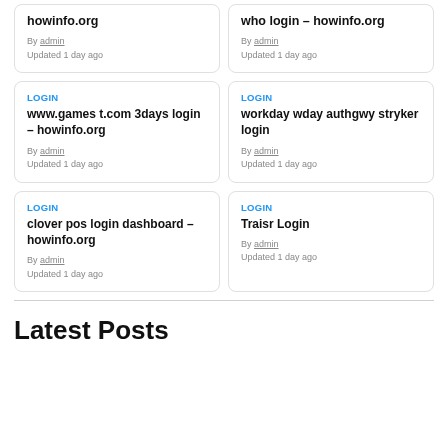howinfo.org
By admin
Updated 1 day ago
who login – howinfo.org
By admin
Updated 1 day ago
LOGIN
www.games t.com 3days login – howinfo.org
By admin
Updated 1 day ago
LOGIN
workday wday authgwy stryker login
By admin
Updated 1 day ago
LOGIN
clover pos login dashboard – howinfo.org
By admin
Updated 1 day ago
LOGIN
Traisr Login
By admin
Updated 1 day ago
Latest Posts